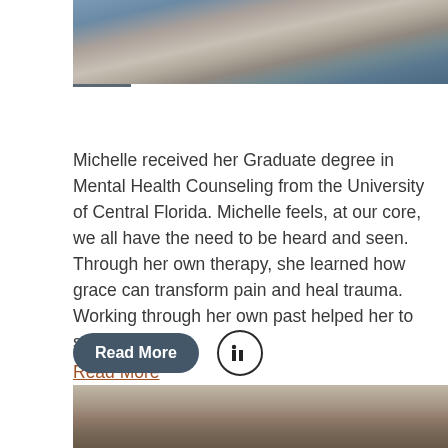[Figure (photo): Partial photo of a person wearing a denim jacket, cropped at the top of the page]
Michelle received her Graduate degree in Mental Health Counseling from the University of Central Florida. Michelle feels, at our core, we all have the need to be heard and seen. Through her own therapy, she learned how grace can transform pain and heal trauma. Working through her own past helped her to see that she...
Read More
[Figure (other): Read More button (pill-shaped, dark teal) and LinkedIn icon button]
[Figure (photo): Partial photo of a man outdoors among trees, cropped at the bottom of the page]